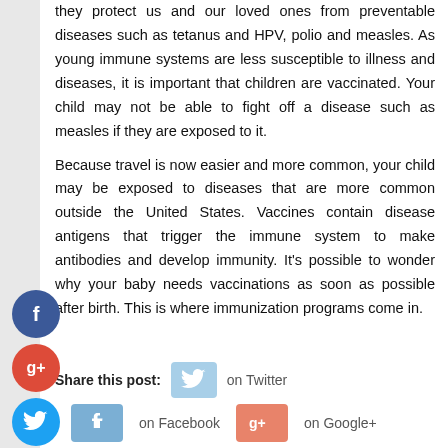they protect us and our loved ones from preventable diseases such as tetanus and HPV, polio and measles. As young immune systems are less susceptible to illness and diseases, it is important that children are vaccinated. Your child may not be able to fight off a disease such as measles if they are exposed to it.
Because travel is now easier and more common, your child may be exposed to diseases that are more common outside the United States. Vaccines contain disease antigens that trigger the immune system to make antibodies and develop immunity. It's possible to wonder why your baby needs vaccinations as soon as possible after birth. This is where immunization programs come in.
Share this post: on Twitter on Facebook on Google+